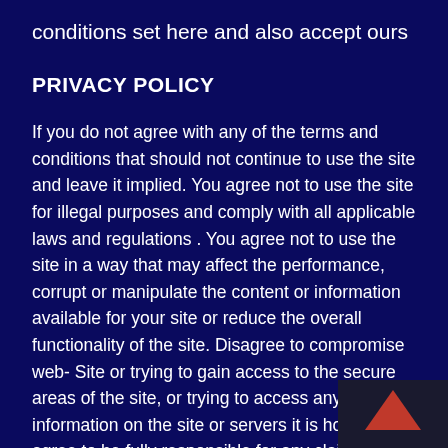conditions set here and also accept ours
PRIVACY POLICY
If you do not agree with any of the terms and conditions that should not continue to use the site and leave it implied. You agree not to use the site for illegal purposes and comply with all applicable laws and regulations . You agree not to use the site in a way that may affect the performance, corrupt or manipulate the content or information available for your site or reduce the overall functionality of the site. Disagree to compromise web- Site or trying to gain access to the secure areas of the site, or trying to access any sensitive information on the site or servers it is hosted. You agree to be fully responsible for any claim, expense, loss, liability, costs, including any legal fees incurred by us arising from any attempt of the terms and conditions of this Agreement and to which you will be acored. If you continue to use Site